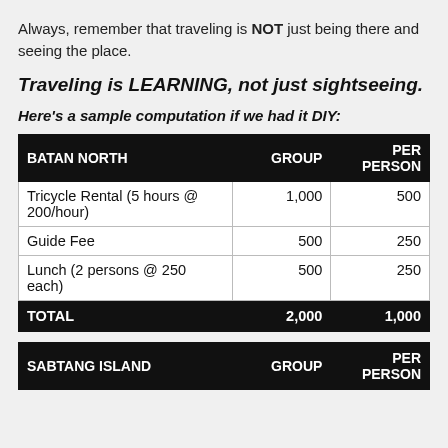Always, remember that traveling is NOT just being there and seeing the place.
Traveling is LEARNING, not just sightseeing.
Here's a sample computation if we had it DIY:
| BATAN NORTH | GROUP | PER PERSON |
| --- | --- | --- |
| Tricycle Rental (5 hours @ 200/hour) | 1,000 | 500 |
| Guide Fee | 500 | 250 |
| Lunch (2 persons @ 250 each) | 500 | 250 |
| TOTAL | 2,000 | 1,000 |
| SABTANG ISLAND | GROUP | PER PERSON |
| --- | --- | --- |